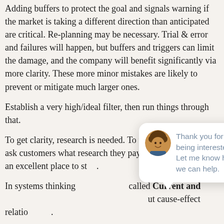Adding buffers to protect the goal and signals warning if the market is taking a different direction than anticipated are critical. Re-planning may be necessary. Trial & error and failures will happen, but buffers and triggers can limit the damage, and the company will benefit significantly via more clarity. These more minor mistakes are likely to prevent or mitigate much larger ones.
Establish a very high/ideal filter, then run things through that.
To get clarity, research is needed. To find the best so[urce], ask customers what research they pay attention to – this is an excellent place to st[art].
In systems thinking [there is a tool] called Current and [Desired State diagrams, which map o]ut cause-effect relatio[nships].
[Figure (other): Chat popup overlay with avatar photo of a woman with curly hair, message 'Thank you for being interested. Let me know how we can help.' and a 'close' button. An orange chat button appears at bottom right.]
Tools like this have been responsible for many highly pro[bab]le breakthroughs. Its power lies not just in finding the di[rect cause] but in understanding why. From here, a Transition Tree [can] be built to get from A to B. It involves all key people and brings